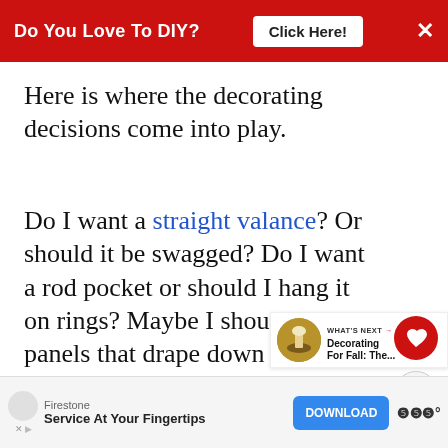Do You Love To DIY? [Click Here!] ×
Here is where the decorating decisions come into play.
Do I want a straight valance? Or should it be swagged? Do I want a rod pocket or should I hang it on rings? Maybe I should add panels that drape down the side. I've never done that before! Or maybe I should go with no curtain at all.
[Figure (other): Heart favorite button (red circle with white heart icon)]
[Figure (other): Share button (light grey circle with share icon)]
[Figure (other): What's Next panel with thumbnail image and text: Decorating For Fall: The...]
[Figure (other): Advertisement banner: Firestone – Service At Your Fingertips with DOWNLOAD button]